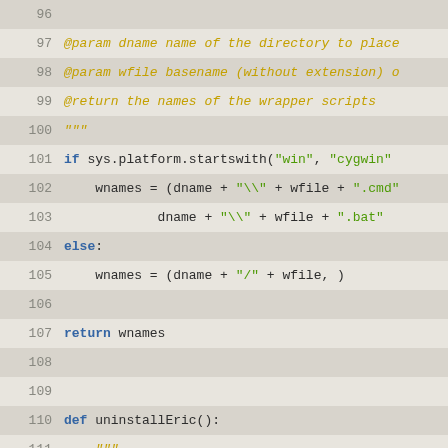[Figure (screenshot): Python source code viewer showing lines 96-121 with syntax highlighting. Line numbers in gray, keywords in blue-bold, strings in green, comments and docstrings in gold-italic, plain code in dark. Alternating light/dark background rows.]